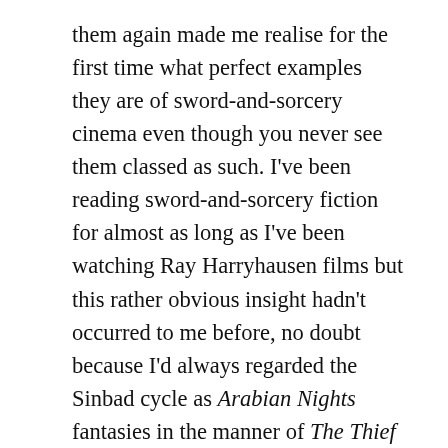them again made me realise for the first time what perfect examples they are of sword-and-sorcery cinema even though you never see them classed as such. I've been reading sword-and-sorcery fiction for almost as long as I've been watching Ray Harryhausen films but this rather obvious insight hadn't occurred to me before, no doubt because I'd always regarded the Sinbad cycle as Arabian Nights fantasies in the manner of The Thief of Bagdad. The 1940 version of the latter happened to be a Harryhausen favourite which prompted his decision to film an Arabian adventure following his monster-on-the-rampage pictures of the 1950s. He subsequently asked The Thief of Bagdad's composer, Miklós Rózsa, to score The